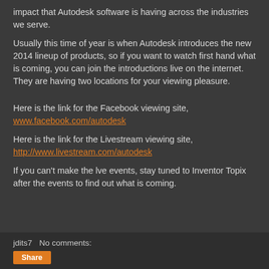impact that Autodesk software is having across the industries we serve.
Usually this time of year is when Autodesk introduces the new 2014 lineup of products, so if you want to watch first hand what is coming, you can join the introductions live on the internet. They are having two locations for your viewing pleasure.
Here is the link for the Facebook viewing site, www.facebook.com/autodesk
Here is the link for the Livestream viewing site, http://www.livestream.com/autodesk
If you can't make the lve events, stay tuned to Inventor Topix after the events to find out what is coming.
jdits7   No comments:
Share